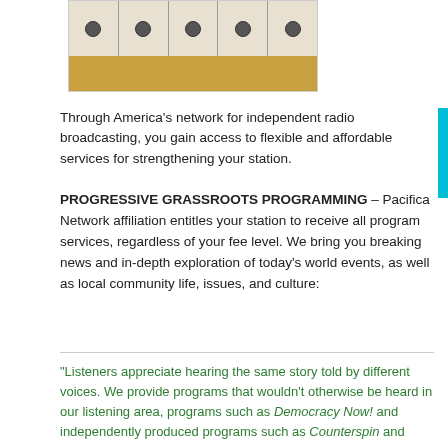[Figure (photo): Wooden drawer unit with multiple drawers each having a round knob handle, viewed from above/front angle]
Through America's network for independent radio broadcasting, you gain access to flexible and affordable services for strengthening your station.
PROGRESSIVE GRASSROOTS PROGRAMMING – Pacifica Network affiliation entitles your station to receive all program services, regardless of your fee level. We bring you breaking news and in-depth exploration of today's world events, as well as local community life, issues, and culture:
“Listeners appreciate hearing the same story told by different voices. We provide programs that wouldn’t otherwise be heard in our listening area, programs such as Democracy Now! and independently produced programs such as Counterspin and Making Contact. Without these programs, stations are missing a public service opportunity and a big fundraising source.” Michael Black